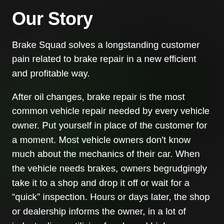Our Story
Brake Squad solves a longstanding customer pain related to brake repair in a new efficient and profitable way.
After oil changes, brake repair is the most common vehicle repair needed by every vehicle owner. Put yourself in place of the customer for a moment. Most vehicle owners don't know much about the mechanics of their car. When the vehicle needs brakes, owners begrudgingly take it to a shop and drop it off or wait for a “quick” inspection. Hours or days later, the shop or dealership informs the owner, in a lot of industry lingo utilizing fear based high pressure sales tactics, that their vehicle needs...